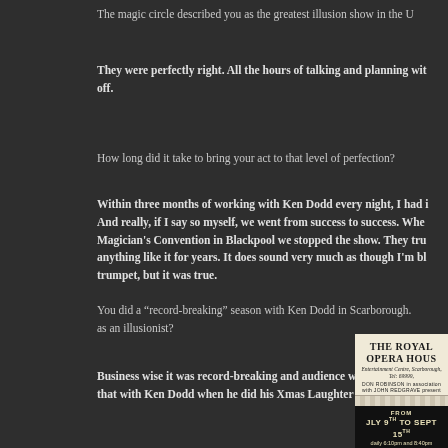The magic circle described you as the greatest illusion show in the U...
They were perfectly right. All the hours of talking and planning with... off.
How long did it take to bring your act to that level of perfection?
Within three months of working with Ken Dodd every night, I had i... And really, if I say so myself, we went from success to success. Whe... Magician's Convention in Blackpool we stopped the show. They tru... anything like it for years. It does sound very much as though I'm bl... trumpet, but it was true.
You did a “record-breaking” season with Ken Dodd in Scarborough. ... as an illusionist?
Business wise it was record-breaking and audience wise also. My bi... that with Ken Dodd when he did his Xmas Laughter Show in Liverp...
[Figure (photo): Advertisement poster for The Royal Opera House, Entertainment Centre, Scarborough, Tel: 69999. DON ROBINSON in association with JOHN REDGRAVE present. FROM JLY 9TH TO SEPT 15TH, daily 6:10pm and 8:40pm.]